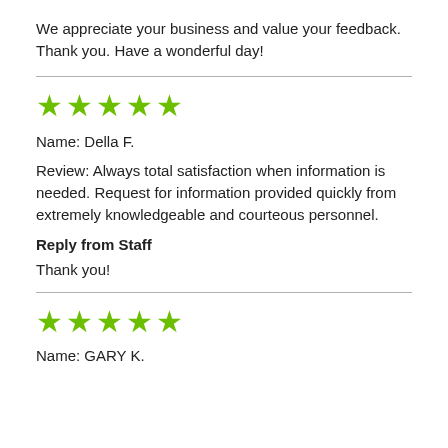We appreciate your business and value your feedback. Thank you. Have a wonderful day!
[Figure (other): 5 green stars rating]
Name: Della F.
Review: Always total satisfaction when information is needed. Request for information provided quickly from extremely knowledgeable and courteous personnel.
Reply from Staff
Thank you!
[Figure (other): 5 green stars rating]
Name: GARY K.